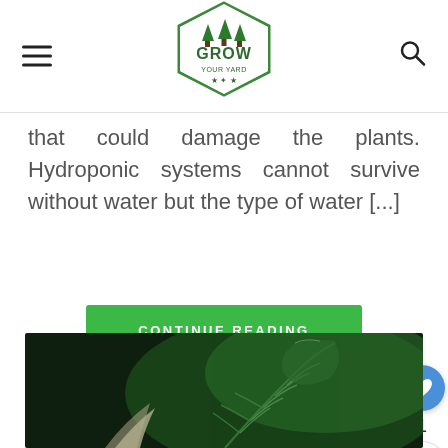[Figure (logo): Grow Your Yard hexagonal green logo with trees and text]
that could damage the plants. Hydroponic systems cannot survive without water but the type of water [...]
CONTINUE READING
[Figure (photo): Close-up photo of a green fern leaf on dark background with dried leaf beside it]